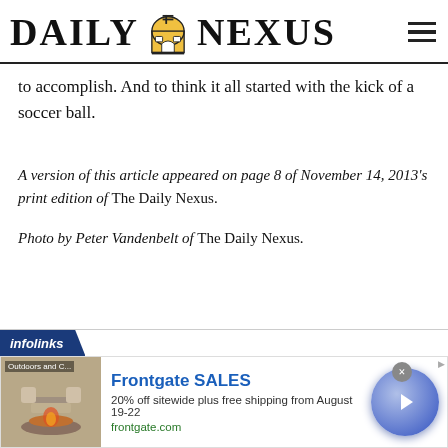DAILY NEXUS
to accomplish. And to think it all started with the kick of a soccer ball.
A version of this article appeared on page 8 of November 14, 2013's print edition of The Daily Nexus.
Photo by Peter Vandenbelt of The Daily Nexus.
[Figure (other): Infolinks advertisement banner for Frontgate SALES — 20% off sitewide plus free shipping from August 19-22, frontgate.com — showing outdoor furniture image and a blue circular arrow button.]